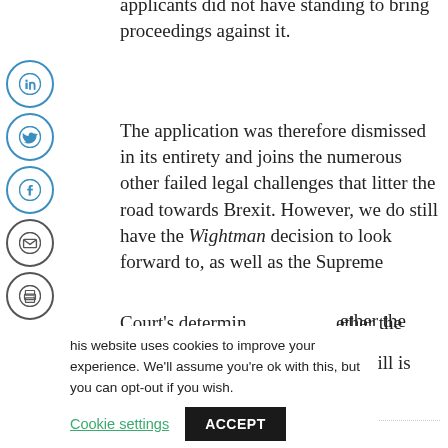applicants did not have standing to bring proceedings against it.
The application was therefore dismissed in its entirety and joins the numerous other failed legal challenges that litter the road towards Brexit. However, we do still have the Wightman decision to look forward to, as well as the Supreme Court's determination on whether the [Withdrawal & Continuity Bill is] [in] compliance.
[Figure (infographic): Social sharing icons: LinkedIn, Twitter, Facebook, Email, Print, and a back arrow button on the left side]
This website uses cookies to improve your experience. We'll assume you're ok with this, but you can opt-out if you wish. Cookie settings ACCEPT
Tagged with: Brexit, Public Law & Regulation